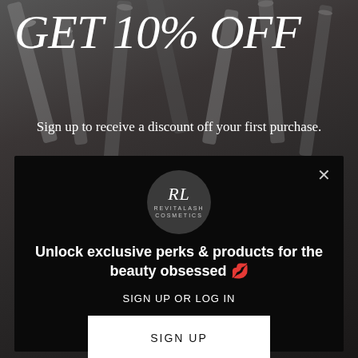GET 10% OFF
Sign up to receive a discount off your first purchase.
You will also be the first to know about new product launches,
[Figure (logo): RevitaLash Cosmetics logo in a dark circle]
Unlock exclusive perks & products for the beauty obsessed 🌟
SIGN UP OR LOG IN
SIGN UP
Already have an account? Sign in